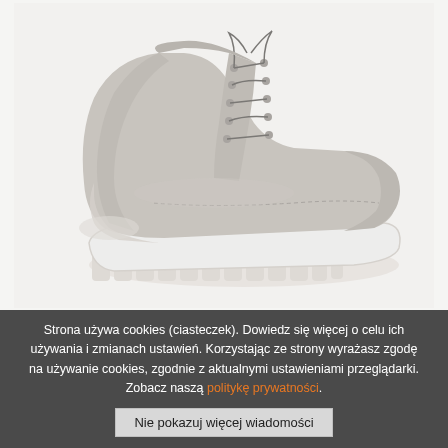[Figure (photo): A beige/grey canvas high-top shoe (Palladium Hi Denim U 76230-379-M) with white rubber sole, shown from a side-front angle on a light grey background.]
Palladium Hi Denim U 76230-379-M shoes beige multicolored
117,95 USD 117,93 USD
Available in many sizes
Strona używa cookies (ciasteczek). Dowiedz się więcej o celu ich używania i zmianach ustawień. Korzystając ze strony wyrażasz zgodę na używanie cookies, zgodnie z aktualnymi ustawieniami przeglądarki. Zobacz naszą politykę prywatności.
Nie pokazuj więcej wiadomości